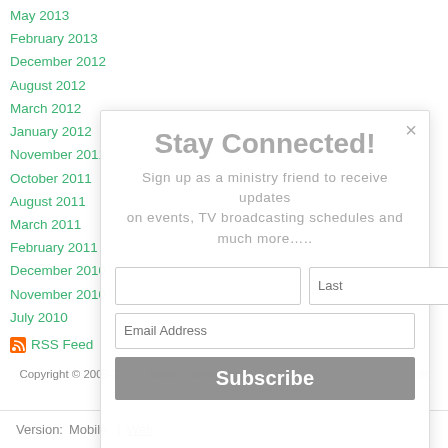May 2013
February 2013
December 2012
August 2012
March 2012
January 2012
November 2011
October 2011
August 2011
March 2011
February 2011
December 2010
November 2010
July 2010
RSS Feed
[Figure (screenshot): Modal dialog overlay with title 'Stay Connected!', subtitle text 'Sign up as a ministry friend to receive updates on events, TV broadcasting schedules and much more.....', two name input fields (first/last), an email address field, and a Subscribe button on a dark grey background.]
Copyright © 2009-2022. Oasis Connection Ministries. is a 501(c)(3) non-profit organization. All Rights Reserved.
Version:   Mobile |  Web